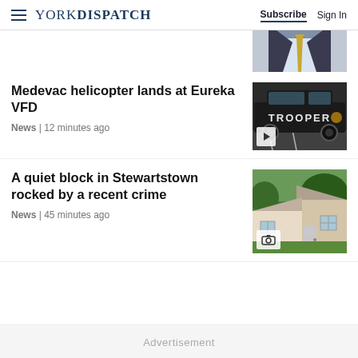YORK DISPATCH  Subscribe  Sign In
[Figure (photo): Partial top image showing a person in suit with gold tie, cropped at top]
Medevac helicopter lands at Eureka VFD
News | 12 minutes ago
[Figure (photo): Pennsylvania State Police Trooper vehicle, black SUV with TROOPER text, video play icon overlay]
A quiet block in Stewartstown rocked by a recent crime
News | 45 minutes ago
[Figure (photo): Suburban house with green lawn and trees, camera icon overlay]
Advertisement